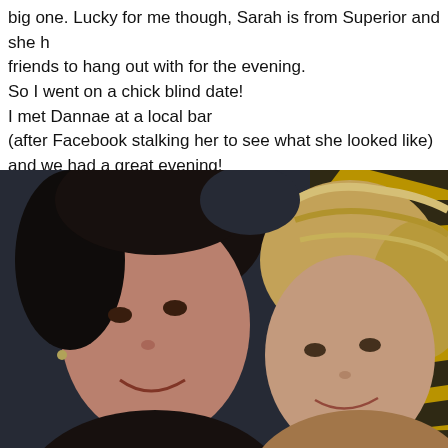big one. Lucky for me though, Sarah is from Superior and she h friends to hang out with for the evening.
So I went on a chick blind date!
I met Dannae at a local bar
(after Facebook stalking her to see what she looked like)
and we had a great evening!
How can you go wrong with local brew and tiger striped seati
[Figure (photo): Selfie of two women smiling. On the left is a woman with dark hair, on the right is a woman with blonde hair. Behind them is a dark blue background and tiger-striped (yellow and black) seat cushion on the right side.]